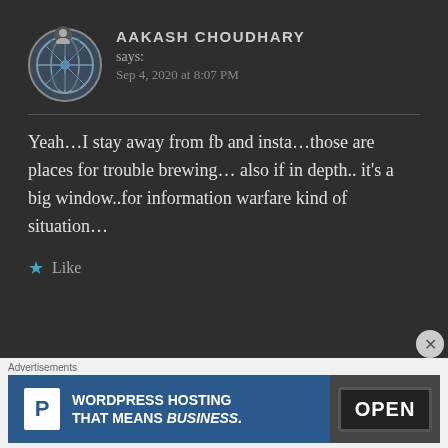[Figure (photo): Circular avatar photo showing a NATO-style emblem/military image with blue and grey tones, with a small person icon badge on top]
AAKASH CHOUDHARY says: Sep 4, 2020 at 8:07 PM
Yeah…I stay away from fb and insta…those are places for trouble brewing… also if in depth.. it's a big window..for information warfare kind of situation…
★ Like
Advertisements
[Figure (infographic): WordPress Hosting advertisement banner with blue background, P logo icon, text WORDPRESS HOSTING THAT MEANS BUSINESS. and an OPEN sign photo on the right]